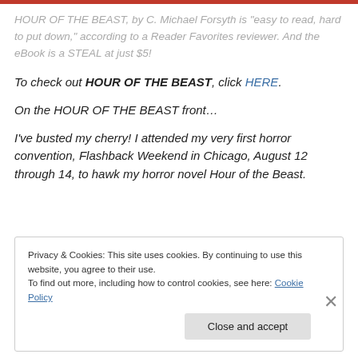HOUR OF THE BEAST, by C. Michael Forsyth is "easy to read, hard to put down," according to a Reader Favorites reviewer. And the eBook is a STEAL at just $5!
To check out HOUR OF THE BEAST, click HERE.
On the HOUR OF THE BEAST front…
I've busted my cherry! I attended my very first horror convention, Flashback Weekend in Chicago, August 12 through 14, to hawk my horror novel Hour of the Beast.
Privacy & Cookies: This site uses cookies. By continuing to use this website, you agree to their use. To find out more, including how to control cookies, see here: Cookie Policy
Close and accept